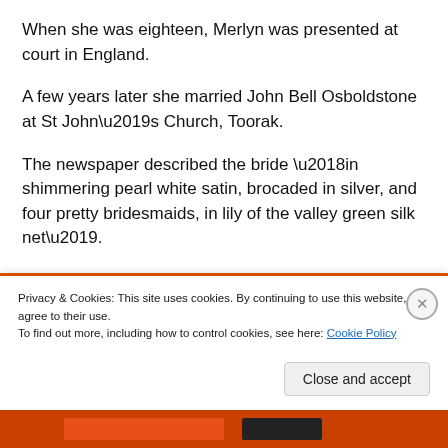When she was eighteen, Merlyn was presented at court in England.
A few years later she married John Bell Osboldstone at St John’s Church, Toorak.
The newspaper described the bride ‘in shimmering pearl white satin, brocaded in silver, and four pretty bridesmaids, in lily of the valley green silk net’.
It noted that Merlyn was the only daughter of Mrs
Privacy & Cookies: This site uses cookies. By continuing to use this website, you agree to their use.
To find out more, including how to control cookies, see here: Cookie Policy
Close and accept